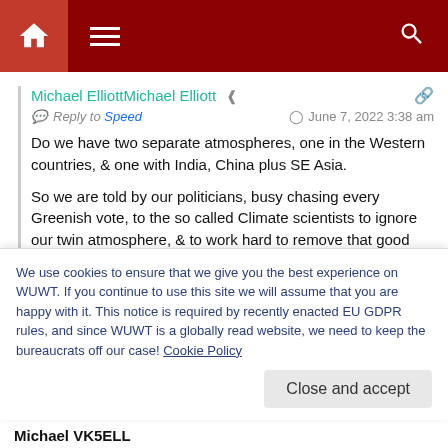[Figure (screenshot): Website navigation bar with dark red background, home icon, hamburger menu, and search icon]
Michael ElliottMichael Elliott
Reply to Speed   June 7, 2022 3:38 am
Do we have two separate atmospheres, one in the Western countries, & one with India, China plus SE Asia.

So we are told by our politicians, busy chasing every Greenish vote, to the so called Climate scientists to ignore our twin atmosphere, & to work hard to remove that good gas CO2 from ours.
We use cookies to ensure that we give you the best experience on WUWT. If you continue to use this site we will assume that you are happy with it. This notice is required by recently enacted EU GDPR rules, and since WUWT is a globally read website, we need to keep the bureaucrats off our case! Cookie Policy
Close and accept
Michael VK5ELL